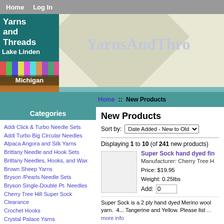Home  Log In
[Figure (logo): Yarns and Threads Lake Linden Michigan logo with colorful yarn spools image]
YarnsAndThre...
Home :: New Products
Categories
Addi Click & Turbo Needle Sets
Addi Turbo Big Circular Needles
Alpaca Angora and Silk Yarns
Brittany Needle and Hook Sets
Brittany Needles, Hooks, and Wax
Brown Sheep Yarns
Bryson /Pearls Needle Sets
Bryson Single-Double Pt. Needles
Cherry Tree Hill Super Sock
Clearance
Crochet Hooks
Crystal Palace Yarns
Denise Interchangeable Needles
Eyelashes
Gift Certificates
Gifts For You
Glitter Yarns
Hand Spun Downy Mohair Lace Yarn
New Products
Sort by: Date Added - New to Old
Displaying 1 to 10 (of 241 new products)
Super Sock hand dyed fin
Manufacturer: Cherry Tree H
Price: $19.95
Weight: 0.25lbs
Add: 0
Super Sock is a 2 ply hand dyed Merino wool yarn.  4... Tangerine and Yellow. Please list ... more info